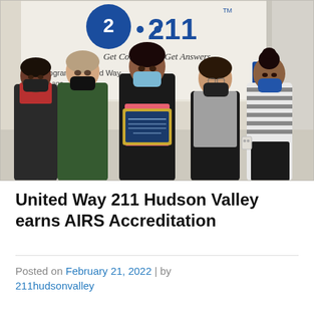[Figure (photo): Five women wearing face masks standing in front of a 211 banner that reads 'Get Connected Get Answers' and 'A program of United Way'. The center person is holding a framed award plaque. They are posing for a group photo in an indoor setting.]
United Way 211 Hudson Valley earns AIRS Accreditation
Posted on February 21, 2022 | by 211hudsonvalley